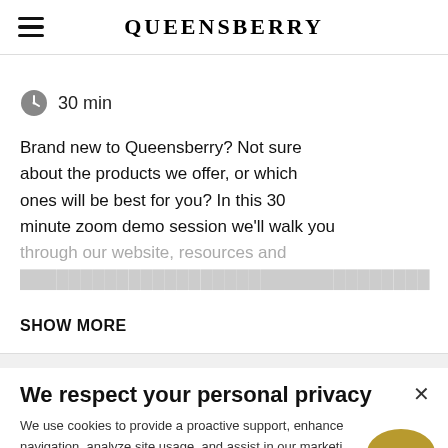QUEENSBERRY
30 min
Brand new to Queensberry? Not sure about the products we offer, or which ones will be best for you? In this 30 minute zoom demo session we'll walk you through our website, resources and
SHOW MORE
We respect your personal privacy
We use cookies to provide a proactive support, enhance navigation, analyze site usage, and assist in our marketing efforts. Learn more.